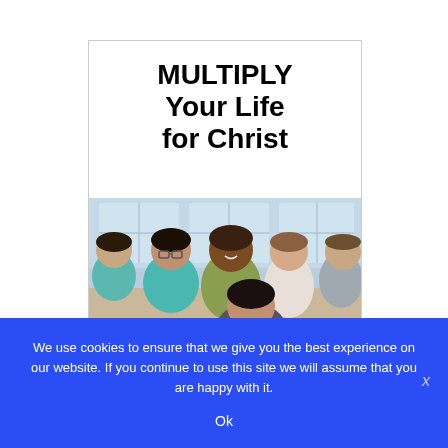[Figure (illustration): Book cover for 'MULTIPLY Your Life for Christ' showing bold title text on white background above a photo of a diverse group of people sitting in a circle, smiling and talking together]
We use cookies to ensure that we give you the best experience on our website. If you continue to use this site we will assume that you are happy with it.
Ok